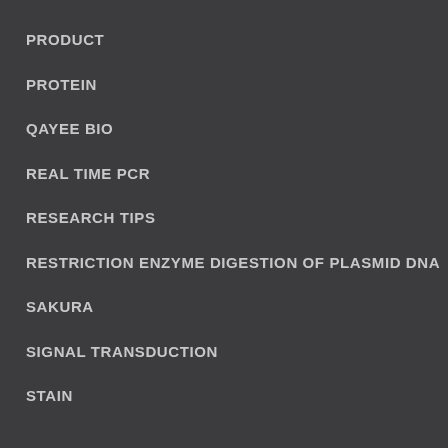PRODUCT
PROTEIN
QAYEE BIO
REAL TIME PCR
RESEARCH TIPS
RESTRICTION ENZYME DIGESTION OF PLASMID DNA
SAKURA
SIGNAL TRANSDUCTION
STAIN